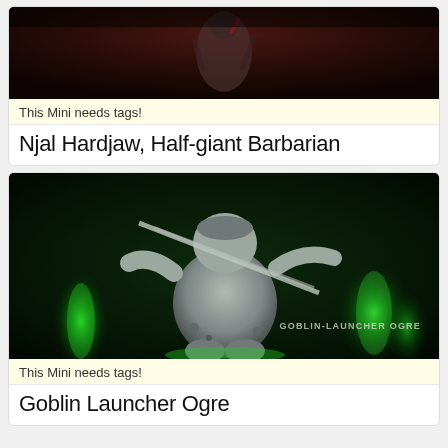[Figure (photo): Dark reddish-toned photo of a miniature figure (Njal Hardjaw, Half-giant Barbarian) against a dark background]
This Mini needs tags!
Njal Hardjaw, Half-giant Barbarian
[Figure (photo): Photo of a grey resin miniature figure (Goblin Launcher Ogre) with green glowing background lighting, watermark text reads GOBLIN-LAUNCHER OGRE]
This Mini needs tags!
Goblin Launcher Ogre